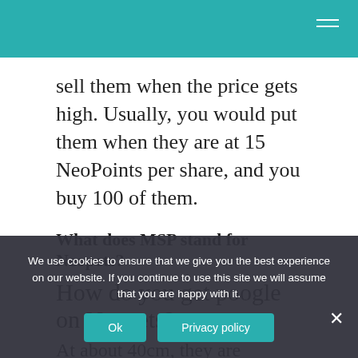sell them when the price gets high. Usually, you would put them when they are at 15 NeoPoints per share, and you buy 100 of them.
What does MSP stand for Neopets?
How do you get poogle on Neopets?
At about 40cm, they are medium-sized
We use cookies to ensure that we give you the best experience on our website. If you continue to use this site we will assume that you are happy with it.